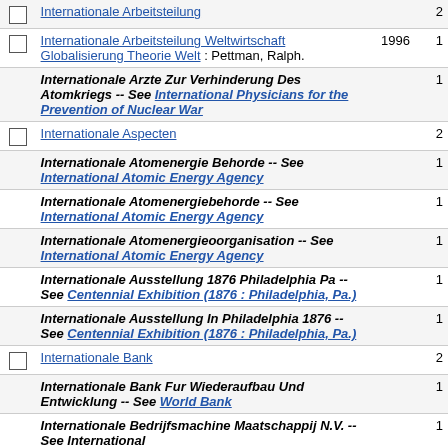|  | Title | Year | Count |
| --- | --- | --- | --- |
| ☐ | Internationale Arbeitsteilung Weltwirtschaft Globalisierung Theorie Welt : Pettman, Ralph. | 1996 | 1 |
|  | Internationale Arzte Zur Verhinderung Des Atomkriegs -- See International Physicians for the Prevention of Nuclear War |  | 1 |
| ☐ | Internationale Aspecten |  | 2 |
|  | Internationale Atomenergie Behorde -- See International Atomic Energy Agency |  | 1 |
|  | Internationale Atomenergiebehorde -- See International Atomic Energy Agency |  | 1 |
|  | Internationale Atomenergieoorganisation -- See International Atomic Energy Agency |  | 1 |
|  | Internationale Ausstellung 1876 Philadelphia Pa -- See Centennial Exhibition (1876 : Philadelphia, Pa.) |  | 1 |
|  | Internationale Ausstellung In Philadelphia 1876 -- See Centennial Exhibition (1876 : Philadelphia, Pa.) |  | 1 |
| ☐ | Internationale Bank |  | 2 |
|  | Internationale Bank Fur Wiederaufbau Und Entwicklung -- See World Bank |  | 1 |
|  | Internationale Bedrijfsmachine Maatschappij N.V. -- See International |  | 1 |